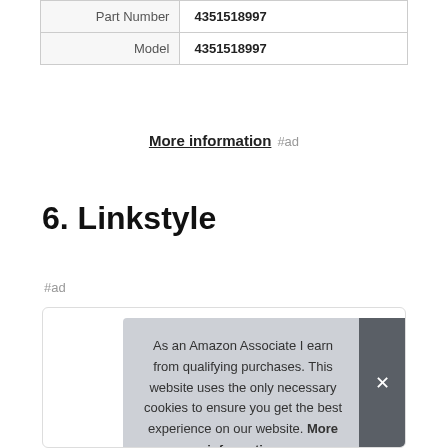| Part Number | 4351518997 |
| Model | 4351518997 |
More information #ad
6. Linkstyle
#ad
As an Amazon Associate I earn from qualifying purchases. This website uses the only necessary cookies to ensure you get the best experience on our website. More information